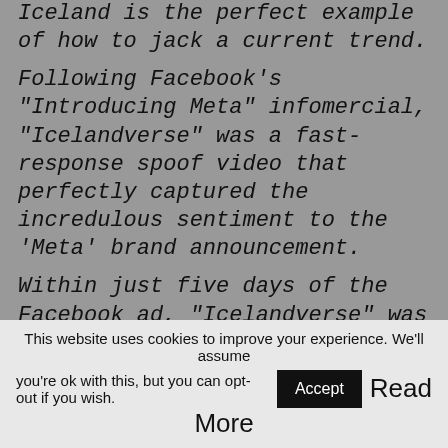Iceland is the perfect example of how to jack a current trend.
Following Facebook's "Introducing Meta" infomercial, "Icelandverse" was a fast-response spoof video that perfectly captured the incredulous sentiment to the 'Meta' brand announcement.
Within just five days of the Facebook ad, "Icelandverse" was launched and has achieved over 1.8million views on YouTube.
The narrative for the video is "a revolutionary approach on how to connect with our world
This website uses cookies to improve your experience. We'll assume you're ok with this, but you can opt-out if you wish. Accept Read More